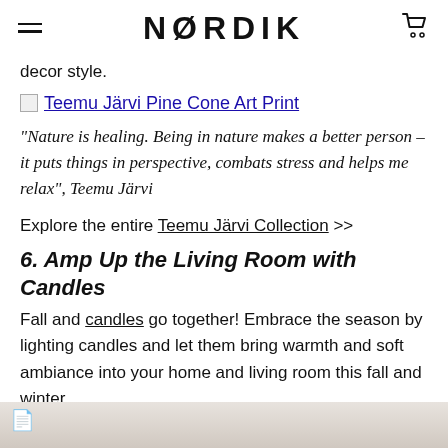NORDIK
decor style.
[Figure (other): Teemu Järvi Pine Cone Art Print image link with broken image icon]
"Nature is healing. Being in nature makes a better person – it puts things in perspective, combats stress and helps me relax", Teemu Järvi
Explore the entire Teemu Järvi Collection >>
6. Amp Up the Living Room with Candles
Fall and candles go together! Embrace the season by lighting candles and let them bring warmth and soft ambiance into your home and living room this fall and winter.
[Figure (photo): Bottom portion of a candle or decorative photo, partially visible]